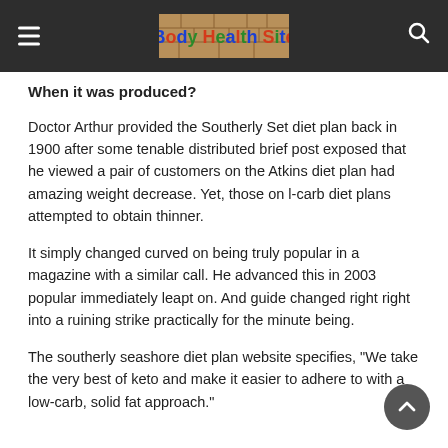Body Health Site
When it was produced?
Doctor Arthur provided the Southerly Set diet plan back in 1900 after some tenable distributed brief post exposed that he viewed a pair of customers on the Atkins diet plan had amazing weight decrease. Yet, those on l-carb diet plans attempted to obtain thinner.
It simply changed curved on being truly popular in a magazine with a similar call. He advanced this in 2003 popular immediately leapt on. And guide changed right right into a ruining strike practically for the minute being.
The southerly seashore diet plan website specifies, "We take the very best of keto and make it easier to adhere to with a low-carb, solid fat approach."